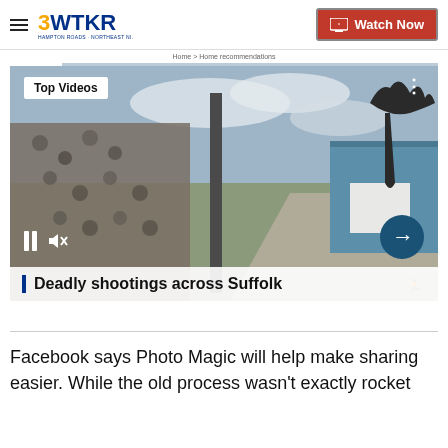3WTKR — Watch Now
Home > Home recommendations
[Figure (screenshot): Video player showing outdoor scene with chain-link fence and road; overlay shows 'Top Videos' badge, pause button, mute button, next arrow button, and bottom title bar reading 'Deadly shootings across Suffolk']
Deadly shootings across Suffolk
Facebook says Photo Magic will help make sharing easier. While the old process wasn't exactly rocket